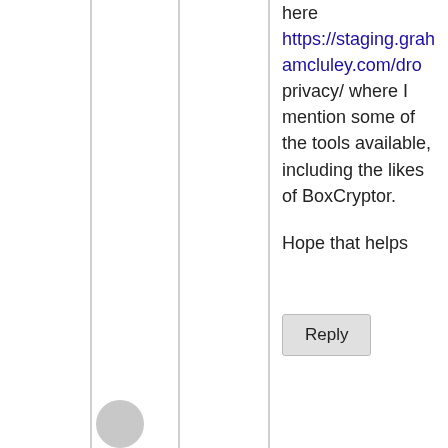here https://staging.grahamcluley.com/dro privacy/ where I mention some of the tools available, including the likes of BoxCryptor.
Hope that helps